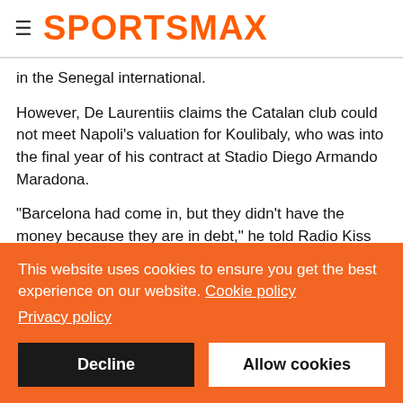SPORTSMAX
in the Senegal international.
However, De Laurentiis claims the Catalan club could not meet Napoli's valuation for Koulibaly, who was into the final year of his contract at Stadio Diego Armando Maradona.
"Barcelona had come in, but they didn't have the money because they are in debt," he told Radio Kiss Kiss. "Then Chelsea came forward and we couldn't say no."
Koulibaly helped Napoli to three second place finishes in Serie A
This website uses cookies to ensure you get the best experience on our website. Cookie policy
Privacy policy
Decline
Allow cookies